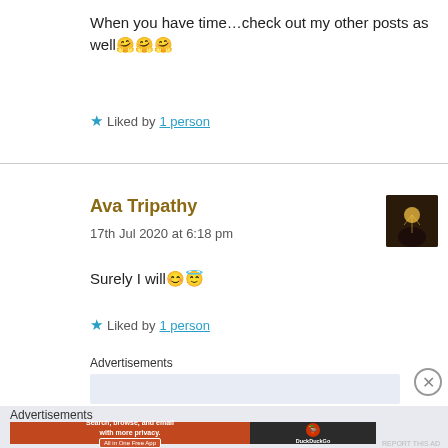When you have time...check out my other posts as well 🤗🤗🤗
★ Liked by 1 person
Ava Tripathy
17th Jul 2020 at 6:18 pm
Surely I will 😊😇
★ Liked by 1 person
Advertisements
[Figure (screenshot): Avatar thumbnail showing a dark silhouette photo]
Advertisements
[Figure (screenshot): DuckDuckGo advertisement banner: Search, browse, and email with more privacy. All in One Free App. DuckDuckGo logo on dark background.]